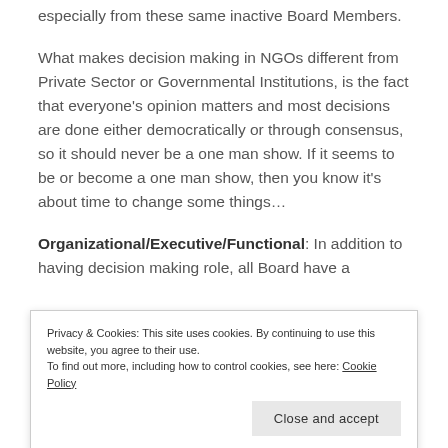especially from these same inactive Board Members.
What makes decision making in NGOs different from Private Sector or Governmental Institutions, is the fact that everyone's opinion matters and most decisions are done either democratically or through consensus, so it should never be a one man show. If it seems to be or become a one man show, then you know it's about time to change some things…
Organizational/Executive/Functional: In addition to having decision making role, all Board have a
Privacy & Cookies: This site uses cookies. By continuing to use this website, you agree to their use.
To find out more, including how to control cookies, see here: Cookie Policy
Close and accept
making role, but also a functional role to play,